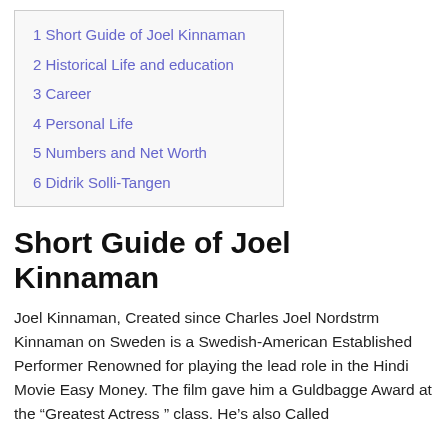1 Short Guide of Joel Kinnaman
2 Historical Life and education
3 Career
4 Personal Life
5 Numbers and Net Worth
6 Didrik Solli-Tangen
Short Guide of Joel Kinnaman
Joel Kinnaman, Created since Charles Joel Nordstrm Kinnaman on Sweden is a Swedish-American Established Performer Renowned for playing the lead role in the Hindi Movie Easy Money. The film gave him a Guldbagge Award at the “Greatest Actress ” class. He’s also Called